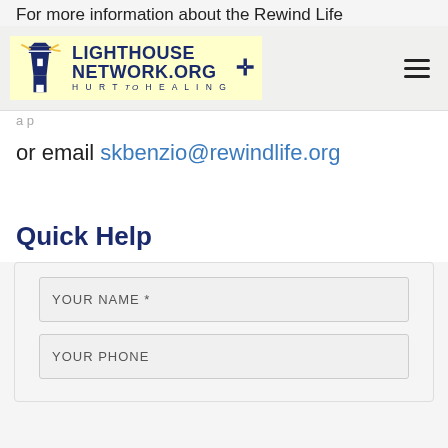For more information about the Rewind Life
[Figure (logo): Lighthouse Network.org HURT to HEALING logo with lighthouse icon]
or email skbenzio@rewindlife.org
Quick Help
YOUR NAME *
YOUR PHONE